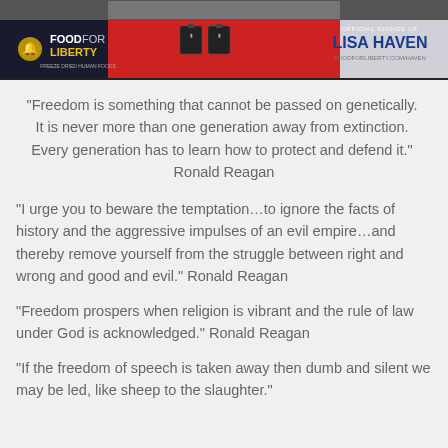[Figure (illustration): Food For Liberty advertisement banner with bell icon, product cans, and Lisa Haven endorsement on red/dark background]
“Freedom is something that cannot be passed on genetically.  It is never more than one generation away from extinction.  Every generation has to learn how to protect and defend it.”  Ronald Reagan
“I urge you to beware the temptation…to ignore the facts of history and the aggressive impulses of an evil empire…and thereby remove yourself from the struggle between right and wrong and good and evil.” Ronald Reagan
“Freedom prospers when religion is vibrant and the rule of law under God is acknowledged.” Ronald Reagan
“If the freedom of speech is taken away then dumb and silent we may be led, like sheep to the slaughter.”